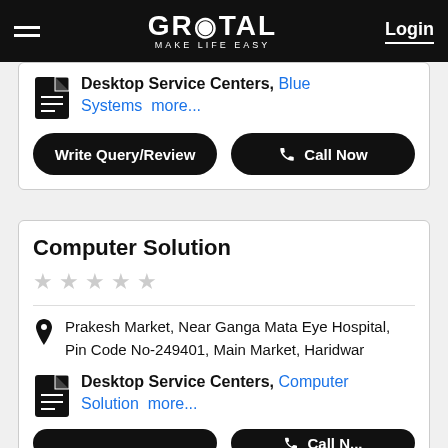GROTAL — MAKE LIFE EASY | Login
Desktop Service Centers, Blue Systems more...
Write Query/Review | Call Now
Computer Solution
★★★★★ (no rating)
Prakesh Market, Near Ganga Mata Eye Hospital, Pin Code No-249401, Main Market, Haridwar
Desktop Service Centers, Computer Solution more...
Write Query/Review | Call Now (partial)